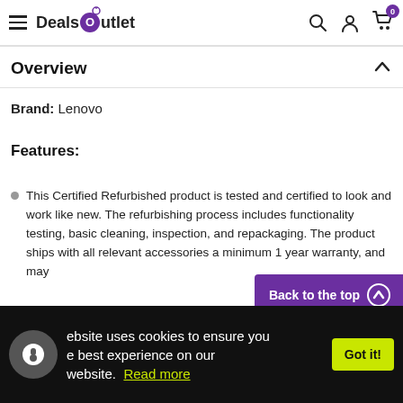DealsOutlet
Overview
Brand: Lenovo
Features:
This Certified Refurbished product is tested and certified to look and work like new. The refurbishing process includes functionality testing, basic cleaning, inspection, and repackaging. The product ships with all relevant accessories a minimum 1 year warranty, and may
Back to the top
This website uses cookies to ensure you get the best experience on our website. Read more  Got it!